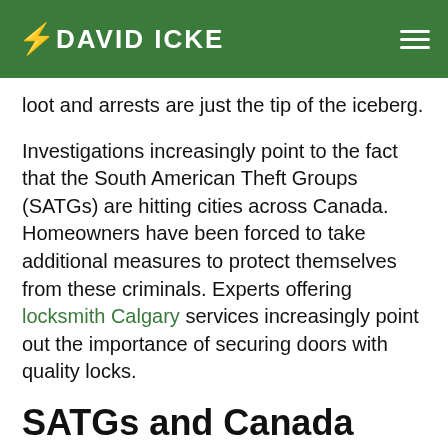DAVID ICKE
loot and arrests are just the tip of the iceberg.
Investigations increasingly point to the fact that the South American Theft Groups (SATGs) are hitting cities across Canada. Homeowners have been forced to take additional measures to protect themselves from these criminals. Experts offering locksmith Calgary services increasingly point out the importance of securing doors with quality locks.
SATGs and Canada